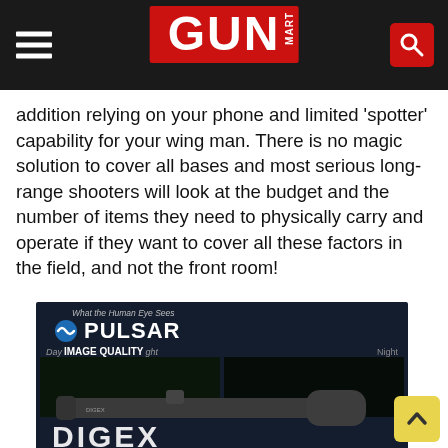GUN MART
addition relying on your phone and limited 'spotter' capability for your wing man. There is no magic solution to cover all bases and most serious long-range shooters will look at the budget and the number of items they need to physically carry and operate if they want to cover all these factors in the field, and not the front room!
[Figure (photo): Pulsar brand advertisement showing a rifle scope (DIGEX model) with day/night image quality comparison panels. The ad shows 'What the Human Eye Sees', 'IMAGE QUALITY', Day and Night labels with dark scene panels behind a scope silhouette. Text at bottom reads DIGEX.]